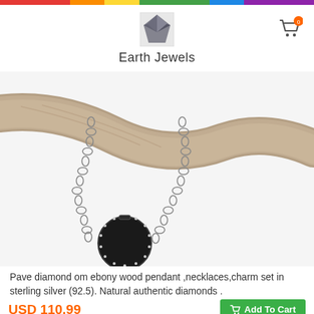Earth Jewels
[Figure (photo): Close-up product photo of a pave diamond om ebony wood pendant on a silver chain, draped over a piece of driftwood against a white background.]
Pave diamond om ebony wood pendant ,necklaces,charm set in sterling silver (92.5). Natural authentic diamonds .
USD 110.99
Add To Cart